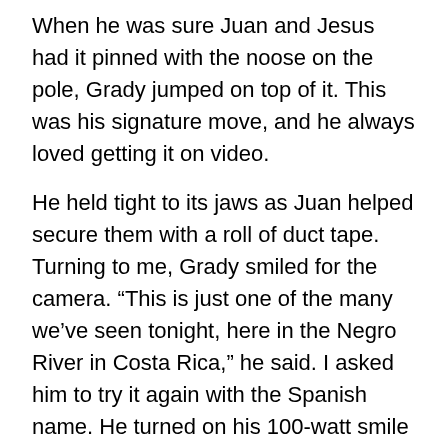When he was sure Juan and Jesus had it pinned with the noose on the pole, Grady jumped on top of it. This was his signature move, and he always loved getting it on video.
He held tight to its jaws as Juan helped secure them with a roll of duct tape. Turning to me, Grady smiled for the camera. “This is just one of the many we’ve seen tonight, here in the Negro River in Costa Rica,” he said. I asked him to try it again with the Spanish name. He turned on his 100-watt smile again. “OK… One of the many we’ve seen here in Costa Rica’s Rios Negro,” he ad-libbed.
Confession #2: Their mighty jaws can crush you, but they aren’t so strong when it comes to opening them.